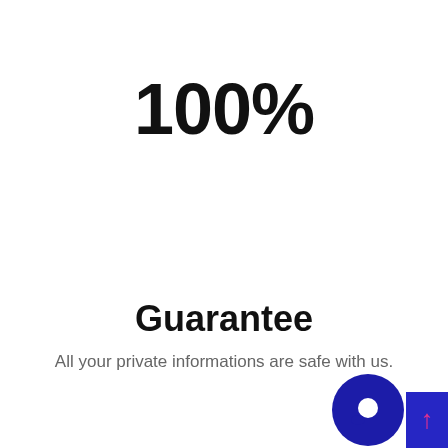100%
Guarantee
All your private informations are safe with us.
[Figure (illustration): Dark blue circular chat button with white dot in center, alongside a dark blue square with pink/red upward arrow, positioned at bottom-right corner]